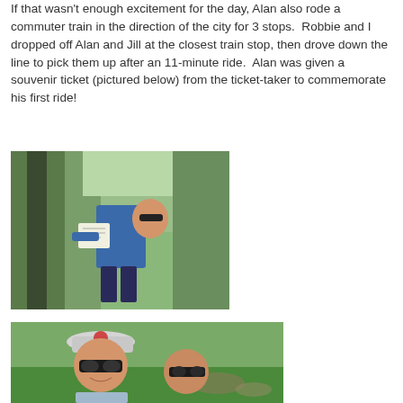If that wasn't enough excitement for the day, Alan also rode a commuter train in the direction of the city for 3 stops. Robbie and I dropped off Alan and Jill at the closest train stop, then drove down the line to pick them up after an 11-minute ride. Alan was given a souvenir ticket (pictured below) from the ticket-taker to commemorate his first ride!
[Figure (photo): Person in blue shirt holding a paper/ticket, standing outdoors with trees in background, photo appears rotated sideways]
[Figure (photo): Two people (an adult wearing a cap and sunglasses, and a child with sunglasses) outdoors near trees and greenery, selfie-style photo]